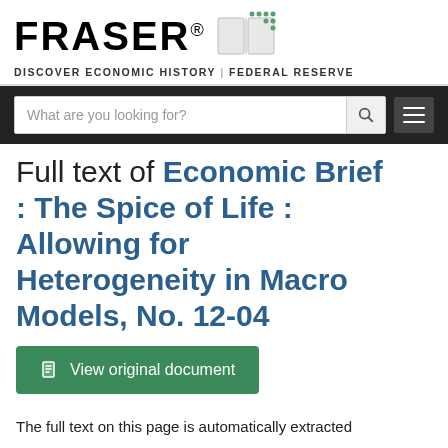FRASER® DISCOVER ECONOMIC HISTORY | FEDERAL RESERVE
Full text of Economic Brief : The Spice of Life : Allowing for Heterogeneity in Macro Models, No. 12-04
View original document
The full text on this page is automatically extracted